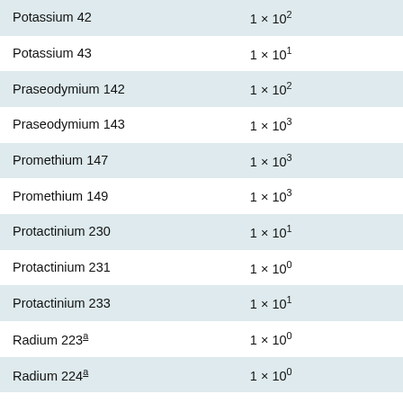| Potassium 42 | 1 × 10² |
| Potassium 43 | 1 × 10¹ |
| Praseodymium 142 | 1 × 10² |
| Praseodymium 143 | 1 × 10³ |
| Promethium 147 | 1 × 10³ |
| Promethium 149 | 1 × 10³ |
| Protactinium 230 | 1 × 10¹ |
| Protactinium 231 | 1 × 10⁰ |
| Protactinium 233 | 1 × 10¹ |
| Radium 223ᵃ | 1 × 10⁰ |
| Radium 224ᵃ | 1 × 10⁰ |
| Radium 225 | 1 × 10¹ |
| Radium 226ᵃ | 1 × 10⁰ |
| Radium 227 | 1 × 10² |
| Radium 228ᵃ | 1 × 10⁰ |
| Rhenium 186 | 1 × 10³ |
| Rhenium 188 | 1 × 10² |